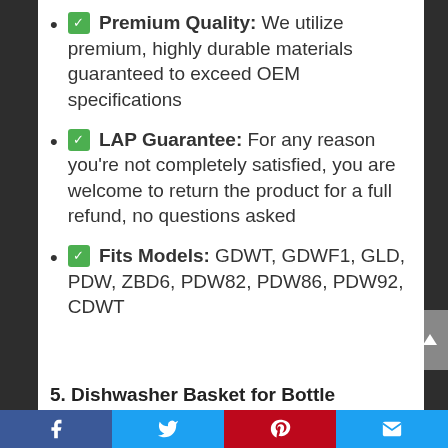✅ Premium Quality: We utilize premium, highly durable materials guaranteed to exceed OEM specifications
✅ LAP Guarantee: For any reason you're not completely satisfied, you are welcome to return the product for a full refund, no questions asked
✅ Fits Models: GDWT, GDWF1, GLD, PDW, ZBD6, PDW82, PDW86, PDW92, CDWT
5. Dishwasher Basket for Bottle
Facebook | Twitter | Pinterest | Email